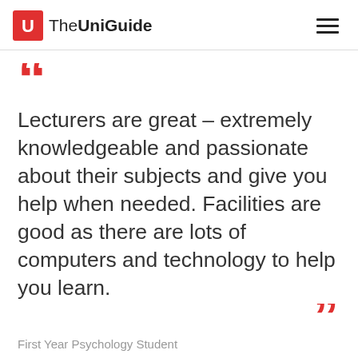The UniGuide
Lecturers are great – extremely knowledgeable and passionate about their subjects and give you help when needed. Facilities are good as there are lots of computers and technology to help you learn.
First Year Psychology Student
Student experience: private university,